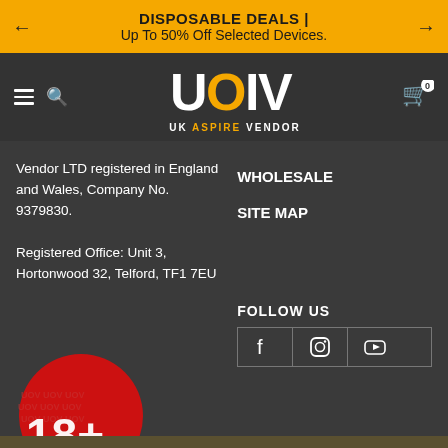DISPOSABLE DEALS | Up To 50% Off Selected Devices.
[Figure (logo): UOV UK Aspire Vendor logo in white and yellow on dark background]
Vendor LTD registered in England and Wales, Company No. 9379830.

Registered Office: Unit 3, Hortonwood 32, Telford, TF1 7EU
WHOLESALE
SITE MAP
FOLLOW US
[Figure (infographic): 18+ age restriction badge, red circle with UOV watermark pattern]
[Figure (infographic): Social media icons: Facebook, Instagram, YouTube in bordered boxes]